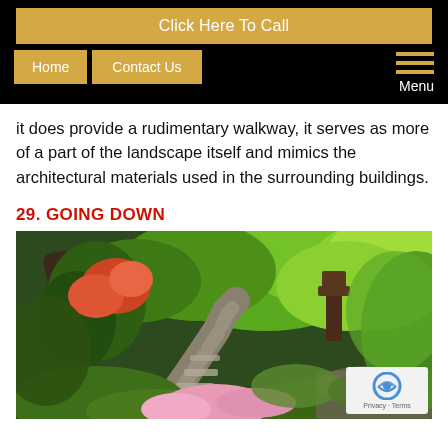Click Here To Call
Home | Contact Us | Menu
it does provide a rudimentary walkway, it serves as more of a part of the landscape itself and mimics the architectural materials used in the surrounding buildings.
29. GOING DOWN
[Figure (photo): A lush Japanese garden path with stone steps going downward, surrounded by green maple trees, pink and red azalea flowers, and moss-covered rocks. A traditional structure is visible in the background.]